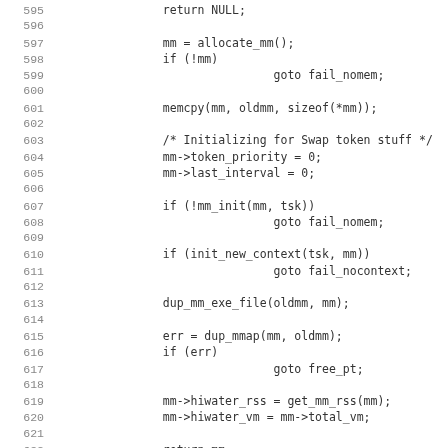Source code listing lines 595-627, C kernel code for memory management (dup_mm function)